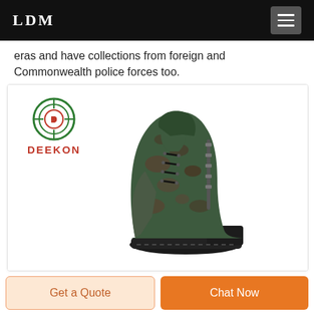LDM
eras and have collections from foreign and Commonwealth police forces too.
[Figure (photo): A camouflage military/tactical boot with Deekon brand logo in upper left. The boot features brown and green camouflage pattern upper material, dark green suede toe and heel panels, black laces, and a dark rubber outsole. The Deekon logo shows a circular target-like emblem in green/red above the red 'DEEKON' text.]
Get a Quote
Chat Now